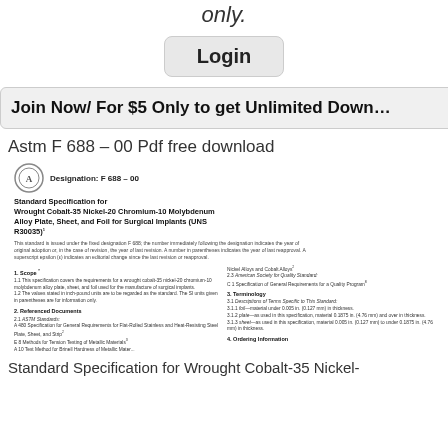only.
Login
Join Now/ For $5 Only to get Unlimited Downloads
Astm F 688 – 00 Pdf free download
[Figure (screenshot): Preview of ASTM F 688-00 standard document showing designation, title 'Standard Specification for Wrought Cobalt-35 Nickel-20 Chromium-10 Molybdenum Alloy Plate, Sheet, and Foil for Surgical Implants (UNS R30035)', and document body with sections on Scope, Referenced Documents, Terminology, and Ordering Information.]
Standard Specification for Wrought Cobalt-35 Nickel-